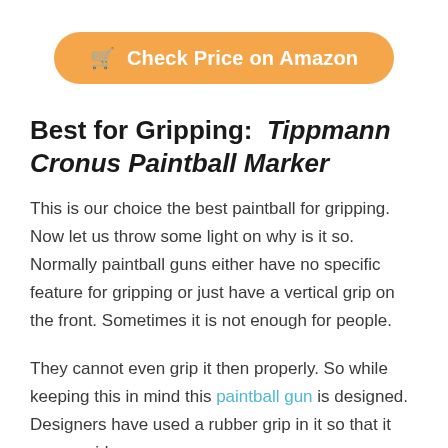[Figure (other): Orange rounded button with shopping cart icon and text 'Check Price on Amazon']
Best for Gripping: Tippmann Cronus Paintball Marker
This is our choice the best paintball for gripping. Now let us throw some light on why is it so. Normally paintball guns either have no specific feature for gripping or just have a vertical grip on the front. Sometimes it is not enough for people.
They cannot even grip it then properly. So while keeping this in mind this paintball gun is designed. Designers have used a rubber grip in it so that it can provide an